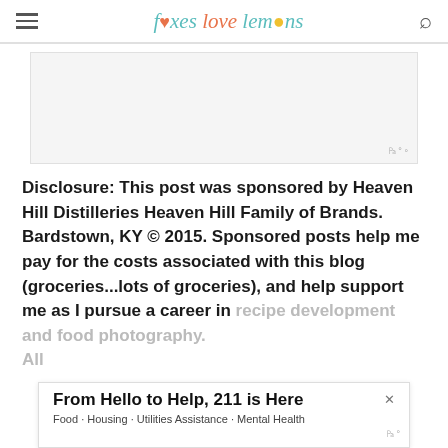foxes love lemons
[Figure (other): Advertisement placeholder box with Moat watermark in bottom right]
Disclosure: This post was sponsored by Heaven Hill Distilleries Heaven Hill Family of Brands. Bardstown, KY © 2015. Sponsored posts help me pay for the costs associated with this blog (groceries...lots of groceries), and help support me as I pursue a career in recipe development and food photography. All
[Figure (other): Bottom banner ad: From Hello to Help, 211 is Here — Food · Housing · Utilities Assistance · Mental Health, with close X button]